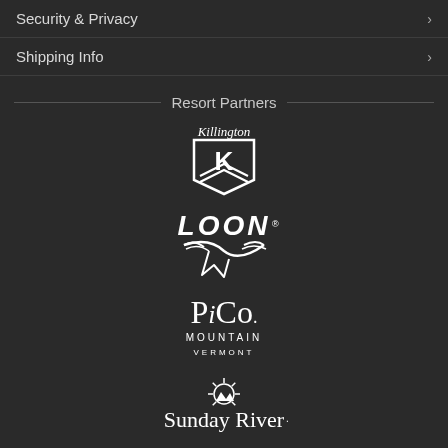Security & Privacy
Shipping Info
Resort Partners
[Figure (logo): Killington ski resort logo — shield shape with stylized K and mountain chevron, italic script 'Killington' above]
[Figure (logo): Loon Mountain logo — bold italic 'LOON' text with a bird/skier swoosh graphic below]
[Figure (logo): Pico Mountain Vermont logo — 'PiCo.' stylized text with 'MOUNTAIN' and 'VERMONT' below in small caps]
[Figure (logo): Sunday River logo — sunburst/mountain icon above 'Sunday River.' text]